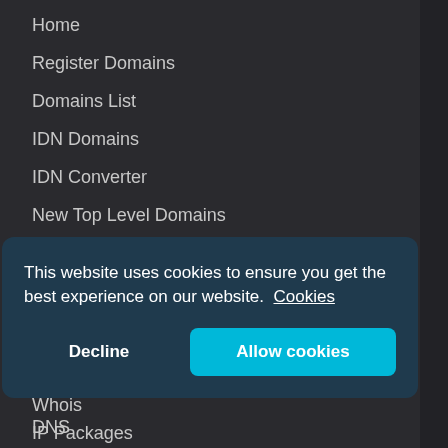Home
Register Domains
Domains List
IDN Domains
IDN Converter
New Top Level Domains
Prices
Domain Quote
Services
Domain Recovery
IP Packages
This website uses cookies to ensure you get the best experience on our website. Cookies
Decline
Allow cookies
Whois
DNS